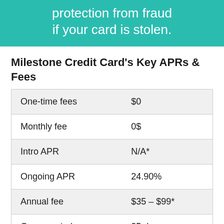[Figure (other): Teal banner with white text: 'protection from fraud if your card is stolen.']
Milestone Credit Card's Key APRs & Fees
| One-time fees | $0 |
| Monthly fee | 0$ |
| Intro APR | N/A* |
| Ongoing APR | 24.90% |
| Annual fee | $35 – $99* |
| Grace period | 25 days |
| Rewards | N/A |